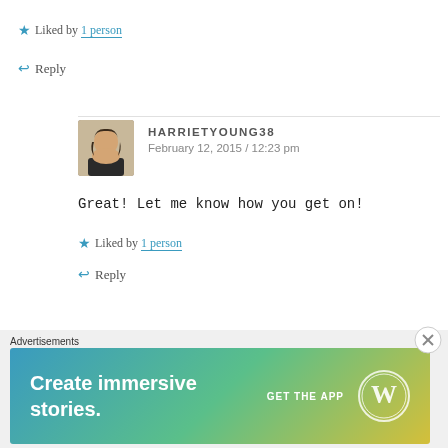★ Liked by 1 person
↩ Reply
HARRIETYOUNG38
February 12, 2015 / 12:23 pm
Great! Let me know how you get on!
★ Liked by 1 person
↩ Reply
TANNACHTONFARM
Advertisements
[Figure (screenshot): WordPress advertisement banner: 'Create immersive stories. GET THE APP' with WordPress logo]